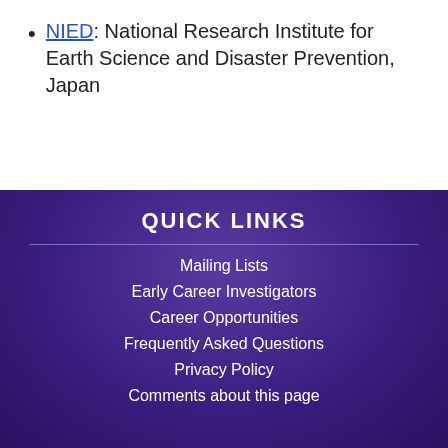NIED: National Research Institute for Earth Science and Disaster Prevention, Japan
QUICK LINKS
Mailing Lists
Early Career Investigators
Career Opportunities
Frequently Asked Questions
Privacy Policy
Comments about this page